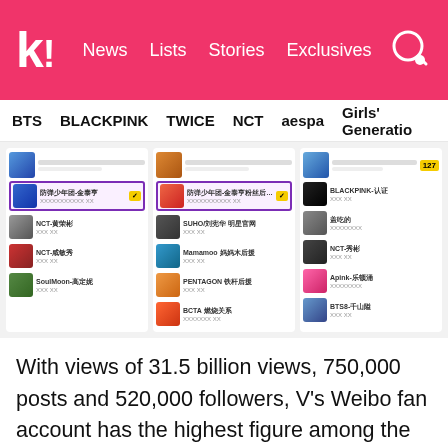k! News Lists Stories Exclusives
BTS BLACKPINK TWICE NCT aespa Girls' Generation
[Figure (screenshot): Screenshot of Weibo ranking lists showing K-pop artists including BTS, BLACKPINK, NCT, PENTAGON, BCTA, Aespa with view counts and badges]
With views of 31.5 billion views, 750,000 posts and 520,000 followers, V's Weibo fan account has the highest figure among the BTS members. Moreover, he ranked No.19 on Weibo's weekly celebrity trends ranking for the last week of December 2018 without even an